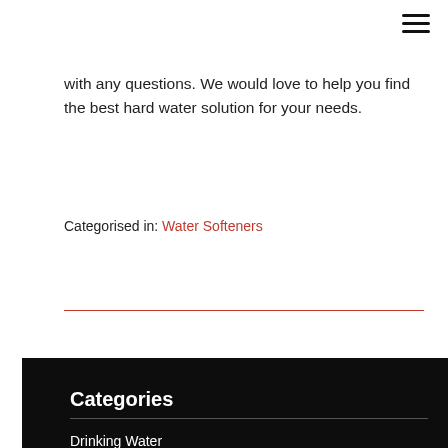with any questions. We would love to help you find the best hard water solution for your needs.
Categorised in: Water Softeners
Categories
Drinking Water
Electric Motor Installation
Electric Motor Replacement
Filtration
Motor Repair
Sump Pumps
Water Conditioning
Water Filtration
Water Pump Installation